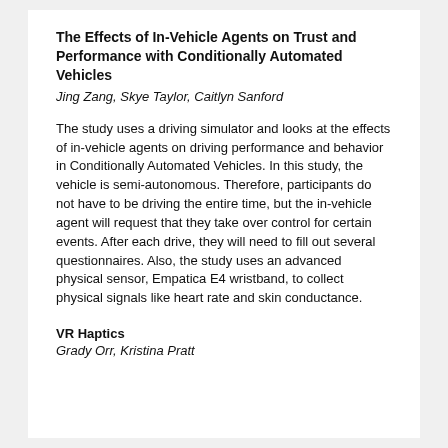The Effects of In-Vehicle Agents on Trust and Performance with Conditionally Automated Vehicles
Jing Zang, Skye Taylor, Caitlyn Sanford
The study uses a driving simulator and looks at the effects of in-vehicle agents on driving performance and behavior in Conditionally Automated Vehicles. In this study, the vehicle is semi-autonomous. Therefore, participants do not have to be driving the entire time, but the in-vehicle agent will request that they take over control for certain events. After each drive, they will need to fill out several questionnaires. Also, the study uses an advanced physical sensor, Empatica E4 wristband, to collect physical signals like heart rate and skin conductance.
VR Haptics
Grady Orr, Kristina Pratt